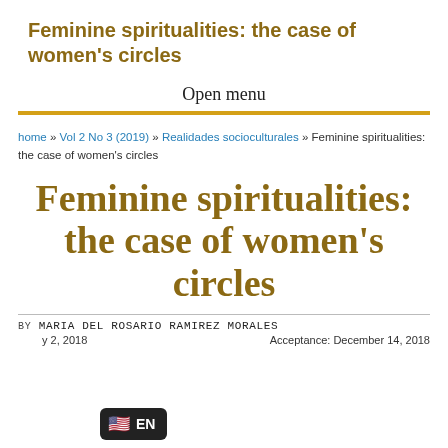Feminine spiritualities: the case of women's circles
Open menu
home » Vol 2 No 3 (2019) » Realidades socioculturales » Feminine spiritualities: the case of women's circles
Feminine spiritualities: the case of women's circles
BY Maria del Rosario Ramirez Morales
Acceptance: December 14, 2018